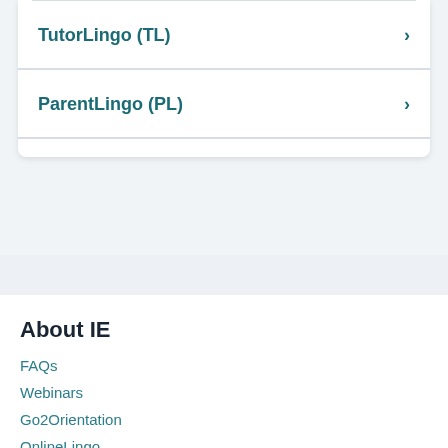TutorLingo (TL) >
ParentLingo (PL) >
About IE
FAQs
Webinars
Go2Orientation
OnlineLingo